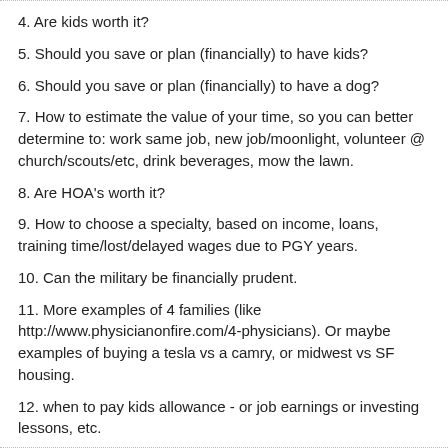4. Are kids worth it?
5. Should you save or plan (financially) to have kids?
6. Should you save or plan (financially) to have a dog?
7. How to estimate the value of your time, so you can better determine to: work same job, new job/moonlight, volunteer @ church/scouts/etc, drink beverages, mow the lawn.
8. Are HOA's worth it?
9. How to choose a specialty, based on income, loans, training time/lost/delayed wages due to PGY years.
10. Can the military be financially prudent.
11. More examples of 4 families (like http://www.physicianonfire.com/4-physicians). Or maybe examples of buying a tesla vs a camry, or midwest vs SF housing.
12. when to pay kids allowance - or job earnings or investing lessons, etc.